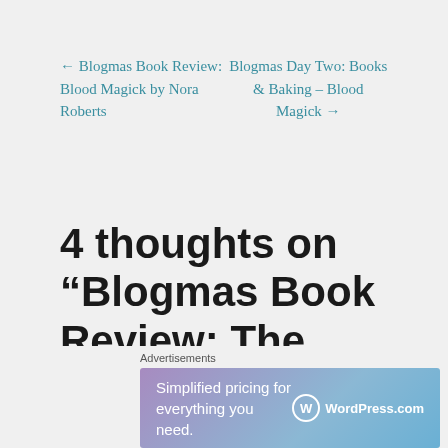← Blogmas Book Review: Blood Magick by Nora Roberts
Blogmas Day Two: Books & Baking – Blood Magick →
4 thoughts on “Blogmas Book Review: The Guinevere Deception
[Figure (other): Advertisement banner for WordPress.com with text 'Simplified pricing for everything you need.']